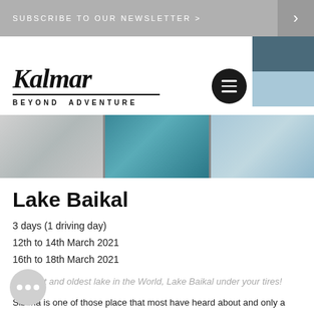SUBSCRIBE TO OUR NEWSLETTER >
[Figure (logo): Kalmar Beyond Adventure logo — cursive script 'Kalmar' with underline and 'BEYOND ADVENTURE' subtitle in uppercase]
[Figure (photo): Three side-by-side photos: grey ice patterns, teal blue ice/crystal texture, blue icy lake reflections]
Lake Baikal
3 days (1 driving day)
12th to 14th March 2021
16th to 18th March 2021
Deepest and oldest lake in the World, Lake Baikal under your tires!
Siberia is one of those place that most have heard about and only a few have visited voluntarily.
With Beyond Adventure we make it possible and we do go straight to the highlight of the area, Lake Baikal.